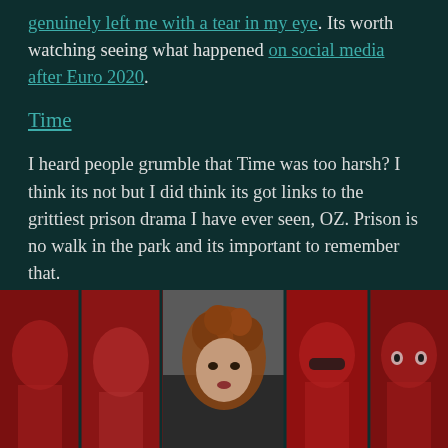genuinely left me with a tear in my eye. Its worth watching seeing what happened on social media after Euro 2020.
Time
I heard people grumble that Time was too harsh? I think its not but I did think its got links to the grittiest prison drama I have ever seen, OZ. Prison is no walk in the park and its important to remember that.
[Figure (photo): A collage-style photo strip showing multiple people's faces. The center shows a person with curly red/brown hair against a grey background, flanked by red-tinted portrait panels of other individuals.]